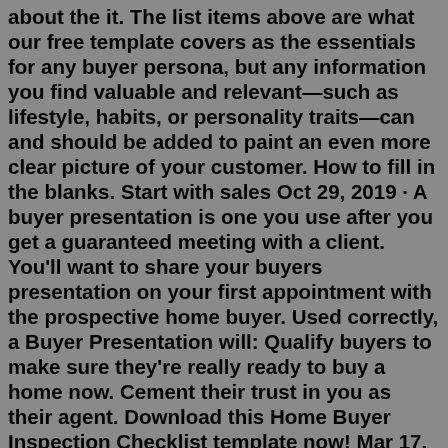about the it. The list items above are what our free template covers as the essentials for any buyer persona, but any information you find valuable and relevant—such as lifestyle, habits, or personality traits—can and should be added to paint an even more clear picture of your customer. How to fill in the blanks. Start with sales Oct 29, 2019 · A buyer presentation is one you use after you get a guaranteed meeting with a client. You'll want to share your buyers presentation on your first appointment with the prospective home buyer. Used correctly, a Buyer Presentation will: Qualify buyers to make sure they're really ready to buy a home now. Cement their trust in you as their agent. Download this Home Buyer Inspection Checklist template now! Mar 17, 2020 - How to create a Home Buyer Inspection Checklist? Download this Home Buyer Inspection Checklist template now! Pinterest. Today. Explore. When autocomplete results are available use up and down arrows to review and enter to select. Touch device users, explore by touch or ...Create Document.